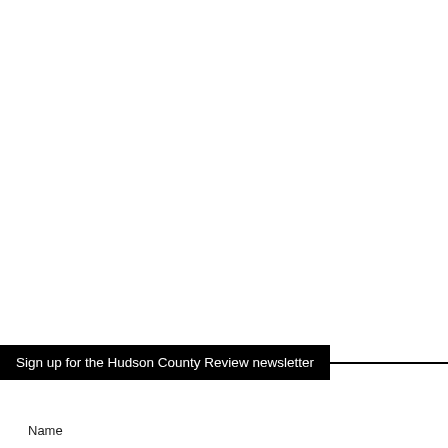Sign up for the Hudson County Review newsletter
Name